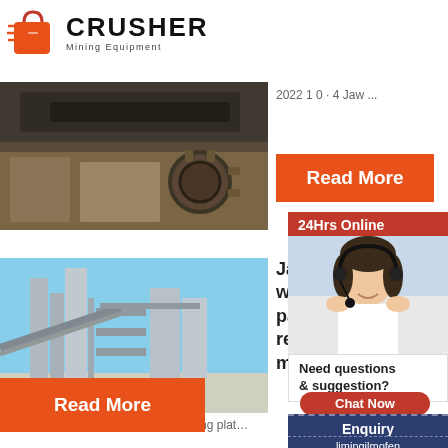[Figure (logo): Crusher Mining Equipment logo with red shopping bag icon and bold CRUSHER text]
[Figure (photo): Close-up photo of jaw crusher machinery parts, dark metallic equipment]
2022 1 0 · 4  Jaw ...
Read More
[Figure (photo): Industrial plant with tall steel structures and silos against blue sky]
Jaw crusher wear – parts replacement meaning
24Hrs Online
[Figure (photo): Customer service lady with headset smiling]
Need questions & suggestion?
Chat Now
Enquiry
limingjlmofen@sina.com
2019-4-22 · In the jaw crusher, the lining plat…
Read More